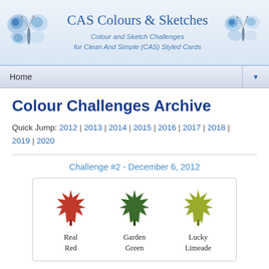CAS Colours & Sketches — Colour and Sketch Challenges for Clean And Simple (CAS) Styled Cards
Colour Challenges Archive
Quick Jump: 2012 | 2013 | 2014 | 2015 | 2016 | 2017 | 2018 | 2019 | 2020
Challenge #2 - December 6, 2012
[Figure (infographic): Three maple leaf color swatches labeled Real Red, Garden Green, and Lucky Limeade]